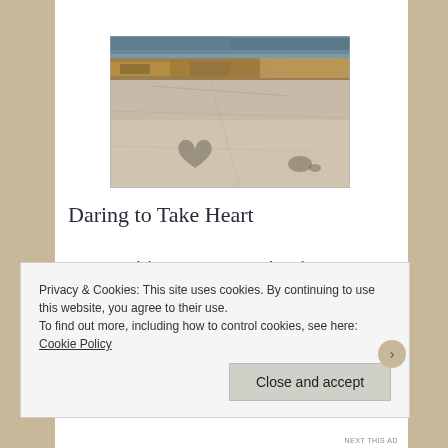[Figure (photo): Outdoor photograph of rocky coastal terrain with tide pool water at top reflecting sky, orange-brown seaweed or lichen, flat granite rock slabs in the foreground with a natural heart-shaped dark mark on the rock surface.]
Daring to Take Heart
Picture a mid-thirties woman, going through some major life challenges: health issues, marital breakdown, family of origin conflict, financial
Privacy & Cookies: This site uses cookies. By continuing to use this website, you agree to their use.
To find out more, including how to control cookies, see here: Cookie Policy
Close and accept